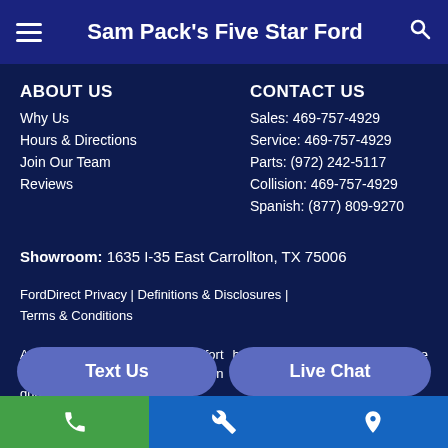Sam Pack's Five Star Ford
ABOUT US
Why Us
Hours & Directions
Join Our Team
Reviews
CONTACT US
Sales: 469-757-4929
Service: 469-757-4929
Parts: (972) 242-5117
Collision: 469-757-4929
Spanish: (877) 809-9270
Showroom: 1635 I-35 East Carrollton, TX 75006
FordDirect Privacy | Definitions & Disclosures | Terms & Conditions
Although every reasonable effort has been made to ensure the accuracy of the information on this site, accuracy cannot be guaranteed. Site, a...